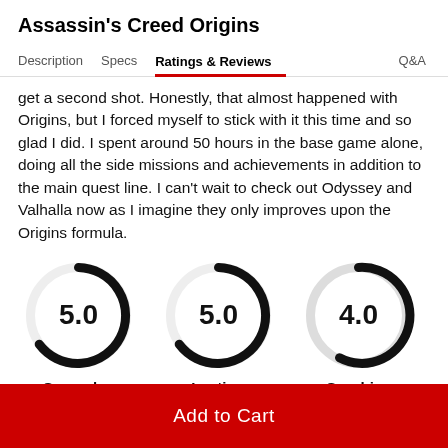Assassin's Creed Origins
Description | Specs | Ratings & Reviews | Q&A
get a second shot. Honestly, that almost happened with Origins, but I forced myself to stick with it this time and so glad I did. I spent around 50 hours in the base game alone, doing all the side missions and achievements in addition to the main quest line. I can't wait to check out Odyssey and Valhalla now as I imagine they only improves upon the Origins formula.
[Figure (other): Three circular rating gauges: Gameplay 5.0 (50/50), Lasting Appeal 5.0, Graphics 4.0 (40/50)]
Gameplay
50/50
Lasting Appeal
Graphics
40/50
Add to Cart